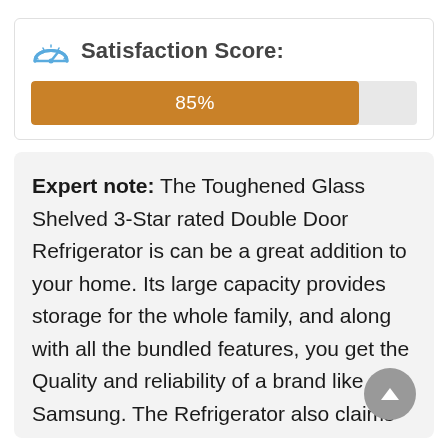[Figure (infographic): Satisfaction Score bar with 85% fill shown as a horizontal progress bar with an orange fill and a speedometer icon.]
Expert note: The Toughened Glass Shelved 3-Star rated Double Door Refrigerator is can be a great addition to your home. Its large capacity provides storage for the whole family, and along with all the bundled features, you get the Quality and reliability of a brand like Samsung. The Refrigerator also claims of freezing ice at a 31% faster freezing rate, so you can easily rely on the